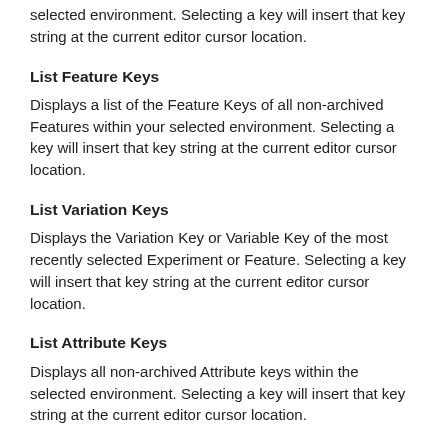selected environment. Selecting a key will insert that key string at the current editor cursor location.
List Feature Keys
Displays a list of the Feature Keys of all non-archived Features within your selected environment. Selecting a key will insert that key string at the current editor cursor location.
List Variation Keys
Displays the Variation Key or Variable Key of the most recently selected Experiment or Feature. Selecting a key will insert that key string at the current editor cursor location.
List Attribute Keys
Displays all non-archived Attribute keys within the selected environment. Selecting a key will insert that key string at the current editor cursor location.